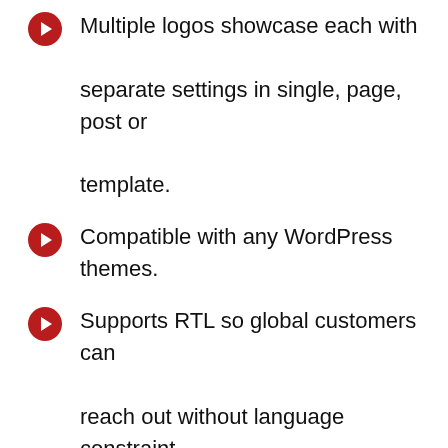Multiple logos showcase each with separate settings in single, page, post or template.
Compatible with any WordPress themes.
Supports RTL so global customers can reach out without language constraint.
Pricing:
Logo Showcase with Slick Slider is a complete free logo slider WordPress plugin to use for your